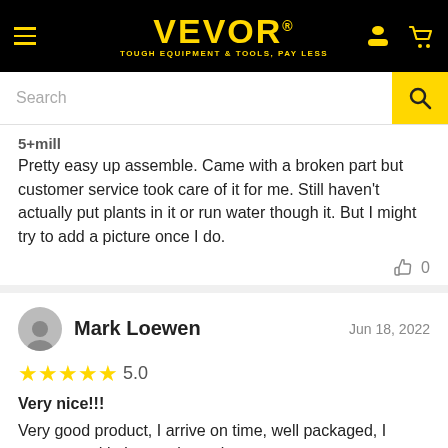VEVOR® TOUGH EQUIPMENT & TOOLS, PAY LESS
Pretty easy up assemble. Came with a broken part but customer service took care of it for me. Still haven't actually put plants in it or run water though it. But I might try to add a picture once I do.
Mark Loewen  Jun 18, 2022  5.0  Very nice!!!  Very good product, I arrive on time, well packaged, I recommend it. I am going to buy more.